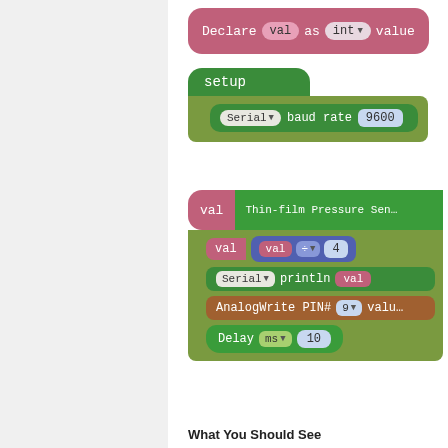[Figure (screenshot): Block-based programming environment screenshot showing: (1) Declare val as int value block (pink/mauve), (2) setup block with Serial baud rate 9600 (green), (3) loop block with val = Thin-film Pressure Sensor read, val = val ÷ 4, Serial println val, AnalogWrite PIN# 9 value, Delay ms 10. Below the blocks: 'What You Should See' section header.]
What You Should See